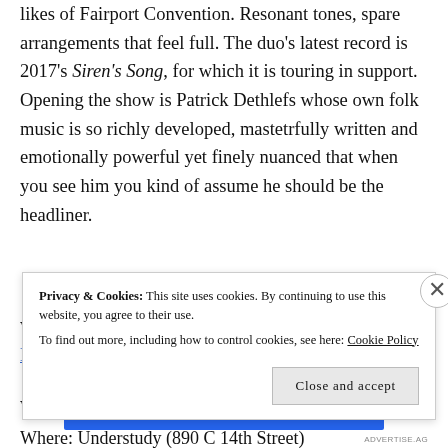likes of Fairport Convention. Resonant tones, spare arrangements that feel full. The duo's latest record is 2017's Siren's Song, for which it is touring in support. Opening the show is Patrick Dethlefs whose own folk music is so richly developed, mastetrfully written and emotionally powerful yet finely nuanced that when you see him you kind of assume he should be the headliner.
What: Rubedo Album Release Popup Shop and Local Music Record Store Debut
When: Friday, 12.01, 8 p.m.
Where: Understudy (890 C 14th Street)
Privacy & Cookies: This site uses cookies. By continuing to use this website, you agree to their use. To find out more, including how to control cookies, see here: Cookie Policy